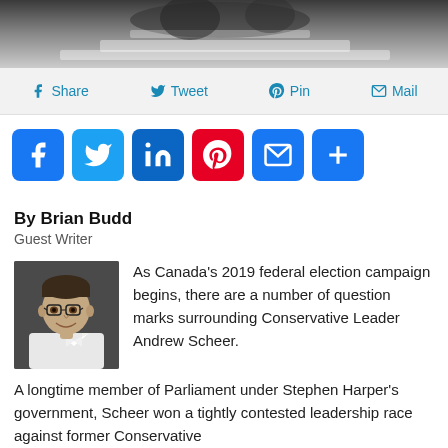[Figure (photo): Top banner image showing people at a desk with papers, partial view]
[Figure (infographic): Share bar with Facebook Share, Twitter Tweet, Pinterest Pin, Mail options on grey background]
[Figure (infographic): Social media icon buttons: Facebook (blue), Twitter (blue), LinkedIn (blue), Pinterest (red), Email (blue), More/Plus (blue)]
By Brian Budd
Guest Writer
[Figure (photo): Headshot of Brian Budd, a young man with glasses and a white shirt, smiling]
As Canada's 2019 federal election campaign begins, there are a number of question marks surrounding Conservative Leader Andrew Scheer.
A longtime member of Parliament under Stephen Harper's government, Scheer won a tightly contested leadership race against former Conservative